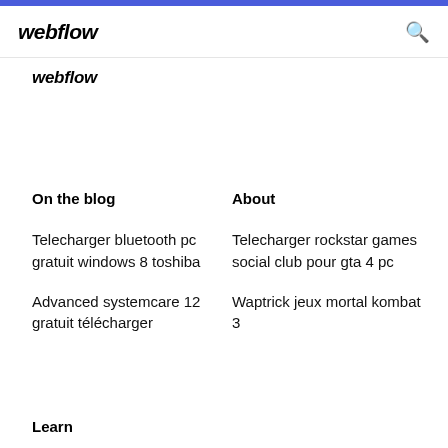webflow
webflow
On the blog
About
Telecharger bluetooth pc gratuit windows 8 toshiba
Telecharger rockstar games social club pour gta 4 pc
Advanced systemcare 12 gratuit télécharger
Waptrick jeux mortal kombat 3
Learn